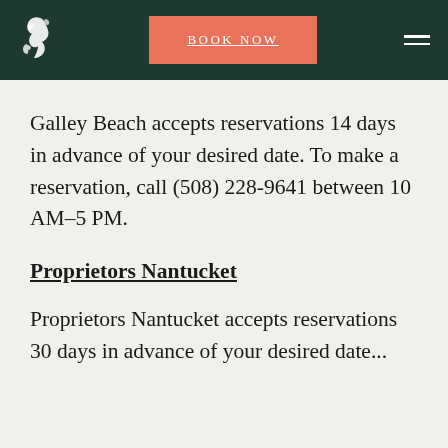BOOK NOW
Galley Beach accepts reservations 14 days in advance of your desired date. To make a reservation, call (508) 228-9641 between 10 AM–5 PM.
Proprietors Nantucket
Proprietors Nantucket accepts reservations 30 days in advance of your desired date...